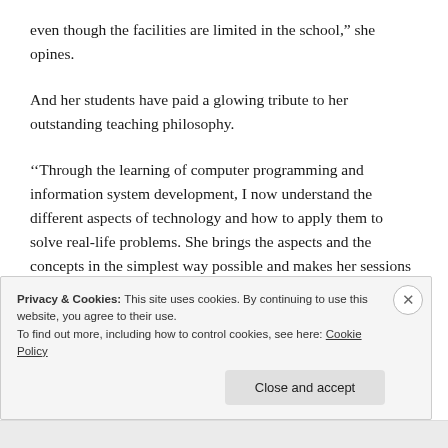even though the facilities are limited in the school," she opines.
And her students have paid a glowing tribute to her outstanding teaching philosophy.
''Through the learning of computer programming and information system development, I now understand the different aspects of technology and how to apply them to solve real-life problems. She brings the aspects and the concepts in the simplest way possible and makes her sessions very interesting to attend. No
Privacy & Cookies: This site uses cookies. By continuing to use this website, you agree to their use.
To find out more, including how to control cookies, see here: Cookie Policy
Close and accept